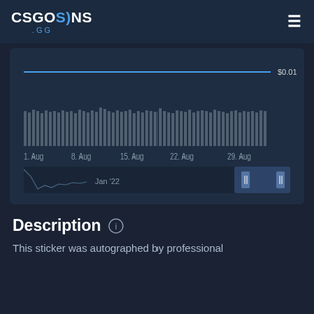CSGOSKINS .GG
[Figure (line-chart): Line chart showing flat price at $0.01 across August, with volume bar chart below and a historical range selector showing Jan 22]
Description
This sticker was autographed by professional